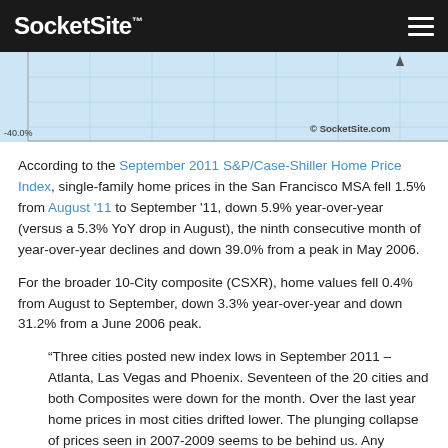SocketSite™
[Figure (continuous-plot): Partial view of a line/area chart showing home price index data with -40.0% label on y-axis and SocketSite.com watermark. Chart background is light blue.]
According to the September 2011 S&P/Case-Shiller Home Price Index, single-family home prices in the San Francisco MSA fell 1.5% from August '11 to September '11, down 5.9% year-over-year (versus a 5.3% YoY drop in August), the ninth consecutive month of year-over-year declines and down 39.0% from a peak in May 2006.
For the broader 10-City composite (CSXR), home values fell 0.4% from August to September, down 3.3% year-over-year and down 31.2% from a June 2006 peak.
“Three cities posted new index lows in September 2011 – Atlanta, Las Vegas and Phoenix. Seventeen of the 20 cities and both Composites were down for the month. Over the last year home prices in most cities drifted lower. The plunging collapse of prices seen in 2007-2009 seems to be behind us. Any chance for a sustained recovery will